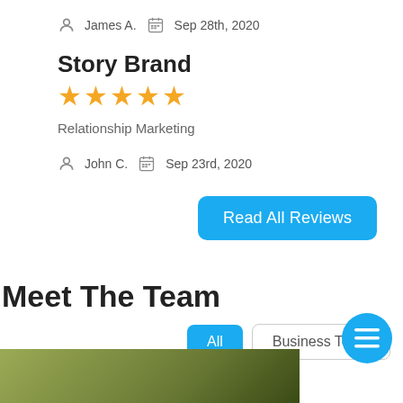James A.   Sep 28th, 2020
Story Brand
★★★★★
Relationship Marketing
John C.   Sep 23rd, 2020
Read All Reviews
Meet The Team
All   Business Team